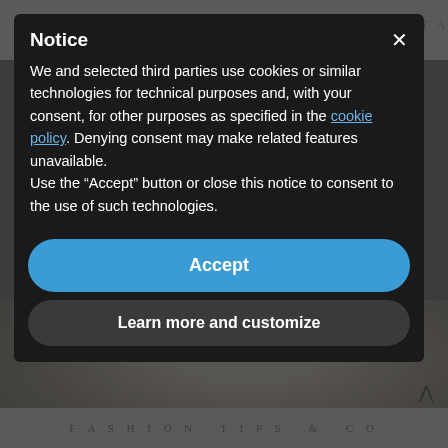[Figure (screenshot): Background website with nav bar showing 'THE' and 'ITA' text, dark overlay, and blurred photo of person in white dress on beach below.]
Notice
We and selected third parties use cookies or similar technologies for technical purposes and, with your consent, for other purposes as specified in the cookie policy. Denying consent may make related features unavailable.
Use the “Accept” button or close this notice to consent to the use of such technologies.
Accept
Learn more and customize
FASHION TIPS & CO